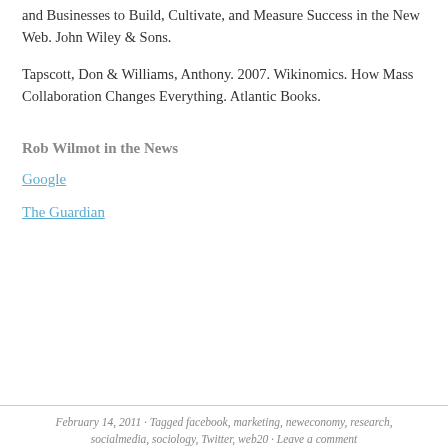and Businesses to Build, Cultivate, and Measure Success in the New Web. John Wiley & Sons.
Tapscott, Don & Williams, Anthony. 2007. Wikinomics. How Mass Collaboration Changes Everything. Atlantic Books.
Rob Wilmot in the News
Google
The Guardian
February 14, 2011 · Tagged facebook, marketing, neweconomy, research, socialmedia, sociology, Twitter, web20 · Leave a comment